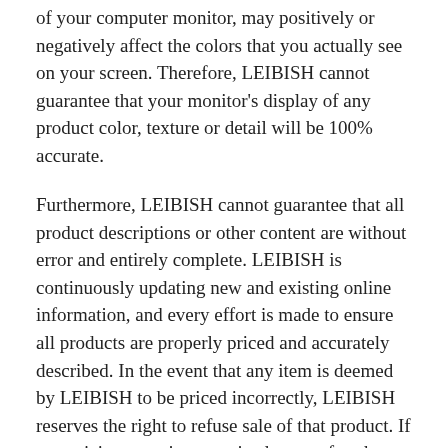of your computer monitor, may positively or negatively affect the colors that you actually see on your screen. Therefore, LEIBISH cannot guarantee that your monitor's display of any product color, texture or detail will be 100% accurate.
Furthermore, LEIBISH cannot guarantee that all product descriptions or other content are without error and entirely complete. LEIBISH is continuously updating new and existing online information, and every effort is made to ensure all products are properly priced and accurately described. In the event that any item is deemed by LEIBISH to be priced incorrectly, LEIBISH reserves the right to refuse sale of that product. If any pricing error is recognized, even after the payment is received, LEIBISH reserves the right to cancel the sale and refund the transaction in full.
With Design Your Own, the prices indicated in the table are per setting for the semi-mount only, according to the size of the center diamond you wish to use. Where relevant, the price includes side diamonds, metal, findings, chains and